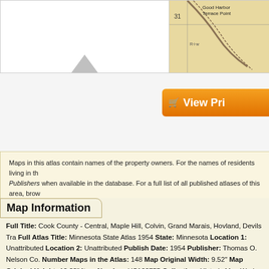[Figure (map): Two-panel map image strip. Left panel shows white background with an upward-pointing gray triangle/arrow. Right panel shows a historical map fragment with 'Good Harbor Terrace Point' label, numbered grid section 31, road markings, and R-I-W notation on a yellowed background.]
[Figure (screenshot): Orange 'View Pri...' button (View Pricing button, partially cropped) with shopping cart icon on right side of page.]
Maps in this atlas contain names of the property owners. For the names of residents living in th... Publishers when available in the database. For a full list of all published atlases of this area, brow...
Map Information
Full Title: Cook County - Central, Maple Hill, Colvin, Grand Marais, Hovland, Devils Tra...
Full Atlas Title: Minnesota State Atlas 1954
State: Minnesota
Location 1: Unattributed
Location 2: Unattributed
Publish Date: 1954
Publisher: Thomas O. Nelson Co.
Number Maps in the Atlas: 148
Map Original Width: 9.52"
Map Original Height: 12.33"
Item Number: US166755
Collection: Historic Map Works Rare Historic Maps Collection
Image Quality: High quality scan of original that is perfect for printed fine-art quality repro...